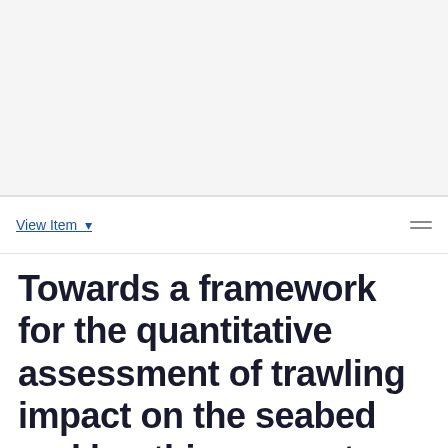View Item ▾
Towards a framework for the quantitative assessment of trawling impact on the seabed and benthic ecosystem
View/Open
KeyNoteNew_Oct01_v9_sgb_edits.docx (256.3Kb)
Reply to Review comments